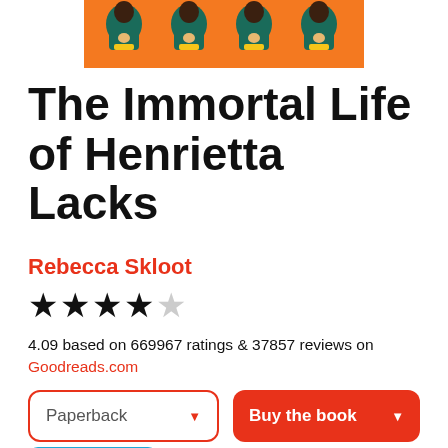[Figure (illustration): Book cover of The Immortal Life of Henrietta Lacks with repeating orange background portraits]
The Immortal Life of Henrietta Lacks
Rebecca Skloot
★★★★☆ 4.09 based on 669967 ratings & 37857 reviews on Goodreads.com
Paperback | Buy the book